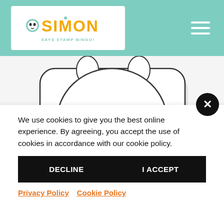Simon Says Stamp Bingo - header with logo and hamburger menu
[Figure (illustration): Partial view of a cute cartoon animal face (bear/bunny) stamp outline on light gray background, showing the bottom portion of face with a simple nose]
We use cookies to give you the best online experience. By agreeing, you accept the use of cookies in accordance with our cookie policy.
DECLINE
I ACCEPT
Privacy Policy  Cookie Policy